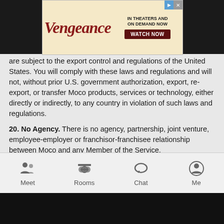[Figure (screenshot): Advertisement banner for 'Vengeance' movie — 'IN THEATERS AND ON DEMAND NOW', 'WATCH NOW' button]
are subject to the export control and regulations of the United States. You will comply with these laws and regulations and will not, without prior U.S. government authorization, export, re-export, or transfer Moco products, services or technology, either directly or indirectly, to any country in violation of such laws and regulations.
20. No Agency. There is no agency, partnership, joint venture, employee-employer or franchisor-franchisee relationship between Moco and any Member of the Service.
21. Governing Law. By using Moco, you agree that the Federal Arbitration Act, applicable federal law, and the laws of the state of Delaware, without regard to principles of conflict of laws, will govern these Conditions of Use and any dispute of any sort that might arise between you and Moco.
22. Headings. The section titles of the Terms are for convenience only and have no structural or legal effect.
[Figure (screenshot): Mobile app navigation bar with icons: Meet, Rooms, Chat, Me]